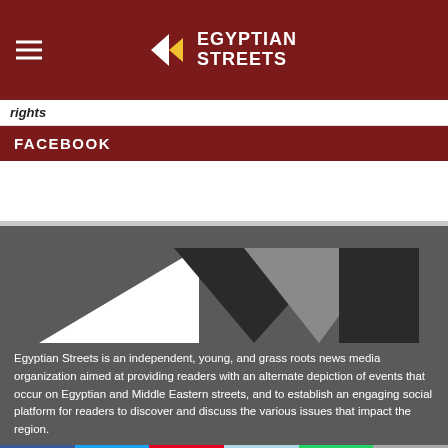Egyptian Streets
rights
FACEBOOK
[Figure (logo): Egyptian Streets logo with geometric triangle shapes in white, dark, and gray forming a stylized pattern, with descriptive text below]
Egyptian Streets is an independent, young, and grass roots news media organization aimed at providing readers with an alternate depiction of events that occur on Egyptian and Middle Eastern streets, and to establish an engaging social platform for readers to discover and discuss the various issues that impact the region.
Facebook | Twitter | Pinterest | Reddit | WhatsApp | More